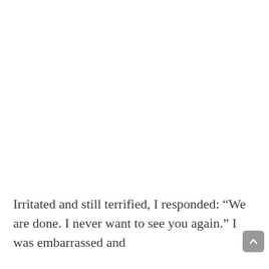Irritated and still terrified, I responded: “We are done. I never want to see you again.” I was embarrassed and